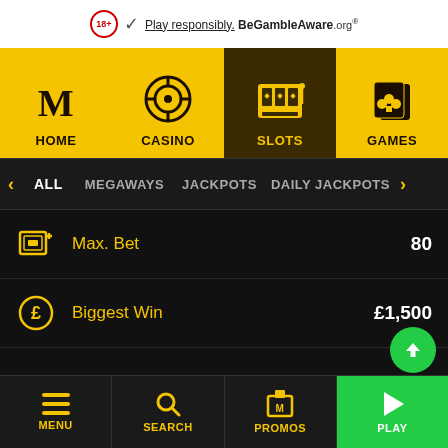18+ Play responsibly. BeGambleAware.org
[Figure (screenshot): Mobile casino app navigation bar with HOME, CASINO, SLOTS (active), GAMES tabs on yellow background]
ALL  MEGAWAYS  JACKPOTS  DAILY JACKPOTS
Max. Bet   80
Biggest Win   £1,500
Produced by   Red Tiger
MENU  SEARCH  PROMOS  PLAY